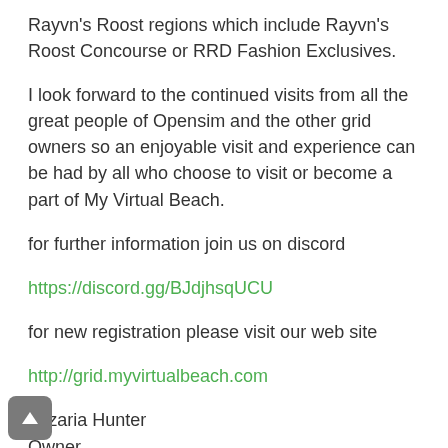Rayvn's Roost regions which include Rayvn's Roost Concourse or RRD Fashion Exclusives.
I look forward to the continued visits from all the great people of Opensim and the other grid owners so an enjoyable visit and experience can be had by all who choose to visit or become a part of My Virtual Beach.
for further information join us on discord
https://discord.gg/BJdjhsqUCU
for new registration please visit our web site
http://grid.myvirtualbeach.com
Trizaria Hunter
Owner
My Virtual Beach